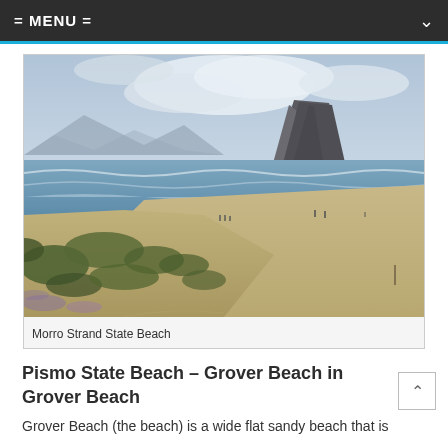= MENU =
[Figure (photo): Aerial view of Morro Strand State Beach with sand dunes covered in green vegetation in the foreground, a wide sandy beach, ocean waves, and the iconic Morro Rock visible in the background under a cloudy sky.]
Morro Strand State Beach
Pismo State Beach – Grover Beach in Grover Beach
Grover Beach (the beach) is a wide flat sandy beach that is